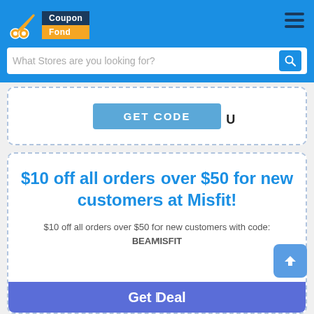CouponFond — What Stores are you looking for?
[Figure (screenshot): GET CODE button with partial 'U' text visible, inside a dashed-border coupon card]
$10 off all orders over $50 for new customers at Misfit!
$10 off all orders over $50 for new customers with code: BEAMISFIT
Get Deal